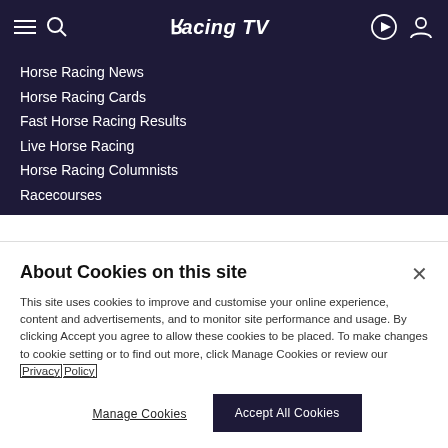[Figure (screenshot): Racing TV website header with hamburger menu, search icon, Racing TV logo, play button and user icon on dark navy background]
Horse Racing News
Horse Racing Cards
Fast Horse Racing Results
Live Horse Racing
Horse Racing Columnists
Racecourses
About Cookies on this site
This site uses cookies to improve and customise your online experience, content and advertisements, and to monitor site performance and usage. By clicking Accept you agree to allow these cookies to be placed. To make changes to cookie setting or to find out more, click Manage Cookies or review our Privacy Policy
Manage Cookies
Accept All Cookies